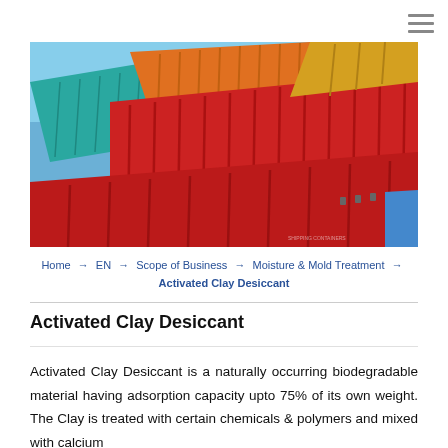[Figure (photo): Aerial view of stacked colorful shipping containers (red, orange, teal, yellow) with corrugated metal surfaces against a blue sky background.]
Home → EN → Scope of Business → Moisture & Mold Treatment → Activated Clay Desiccant
Activated Clay Desiccant
Activated Clay Desiccant is a naturally occurring biodegradable material having adsorption capacity upto 75% of its own weight. The Clay is treated with certain chemicals & polymers and mixed with calcium